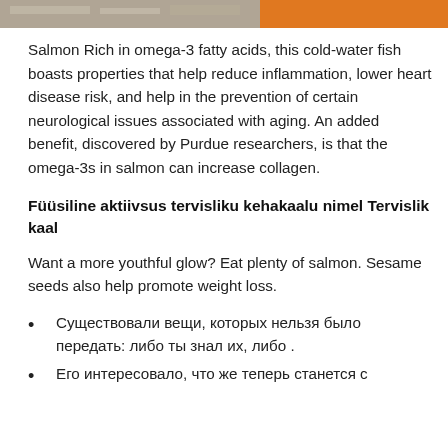[Figure (photo): Header image strip: partial photo of salmon/food on left, orange color block on right]
Salmon Rich in omega-3 fatty acids, this cold-water fish boasts properties that help reduce inflammation, lower heart disease risk, and help in the prevention of certain neurological issues associated with aging. An added benefit, discovered by Purdue researchers, is that the omega-3s in salmon can increase collagen.
Füüsiline aktiivsus tervisliku kehakaalu nimel Tervislik kaal
Want a more youthful glow? Eat plenty of salmon. Sesame seeds also help promote weight loss.
Существовали вещи, которых нельзя было передать: либо ты знал их, либо .
Его интересовало, что же теперь станется с